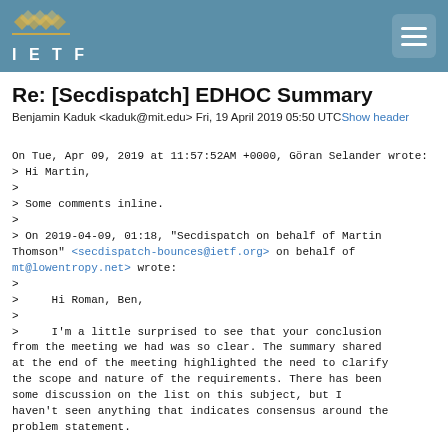IETF
Re: [Secdispatch] EDHOC Summary
Benjamin Kaduk <kaduk@mit.edu> Fri, 19 April 2019 05:50 UTCShow header
On Tue, Apr 09, 2019 at 11:57:52AM +0000, Göran Selander wrote:
> Hi Martin,
>
> Some comments inline.
>
> On 2019-04-09, 01:18, "Secdispatch on behalf of Martin Thomson" <secdispatch-bounces@ietf.org> on behalf of mt@lowentropy.net> wrote:
>
>     Hi Roman, Ben,
>
>     I'm a little surprised to see that your conclusion from the meeting we had was so clear. The summary shared at the end of the meeting highlighted the need to clarify the scope and nature of the requirements. There has been some discussion on the list on this subject, but I haven't seen anything that indicates consensus around the problem statement.